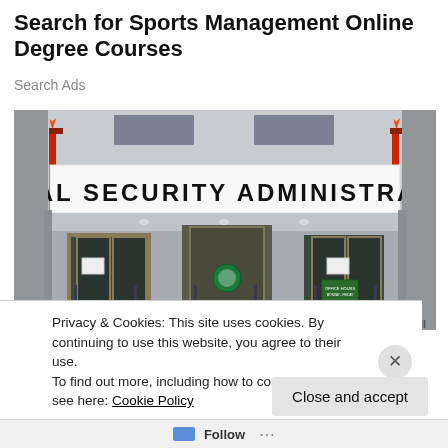Search for Sports Management Online Degree Courses
Search Ads
[Figure (photo): Exterior of a Social Security Administration building. Large sign reads 'SOCIAL SECURITY ADMINISTRATION' in bold black letters on a white banner. The building has glass entrance doors, granite walls, and a metal railing ramp in the foreground. Red decorative poles flank the sign.]
Privacy & Cookies: This site uses cookies. By continuing to use this website, you agree to their use.
To find out more, including how to control cookies, see here: Cookie Policy
Close and accept
Follow